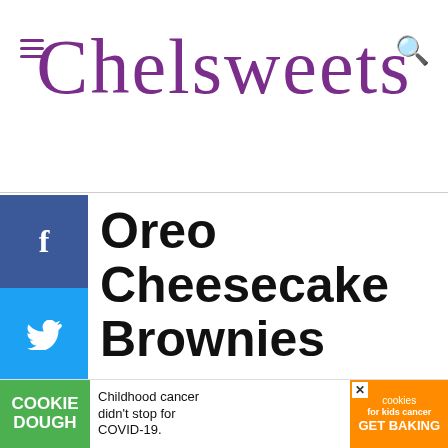Chelsweets
Oreo Cheesecake Brownies
11 Comments
These Oreo cheesecake brownies are everything you could want in a brownie and more! From its Oreo cookie crust to its Oreo cheesecake swirls, these brownies are absolutely decadent.
WHAT'S NEXT → Pumpkin Cheesecake...
[Figure (other): Advertisement banner: Cookie Dough - Childhood cancer didn't stop for COVID-19. Cookies for kids cancer - GET BAKING.]